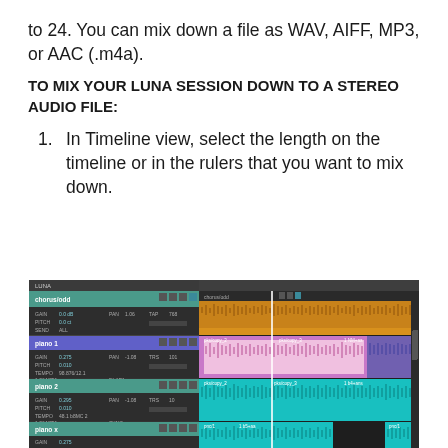to 24. You can mix down a file as WAV, AIFF, MP3, or AAC (.m4a).
TO MIX YOUR LUNA SESSION DOWN TO A STEREO AUDIO FILE:
1. In Timeline view, select the length on the timeline or in the rulers that you want to mix down.
[Figure (screenshot): Screenshot of LUNA DAW software showing Timeline view with multiple audio tracks. The top track shows a yellow waveform region, the second track shows a pink/purple waveform region, the third track shows a teal/cyan waveform region, and the fourth track also shows a teal/cyan waveform region. The left panel shows track controls with various parameters.]